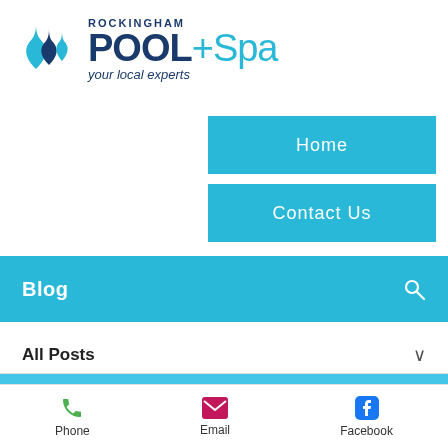[Figure (logo): Rockingham Pool+Spa logo with water drops icon and tagline 'your local experts']
Home
Contact Us
Blog
All Posts
[Figure (photo): Two children in a swimming pool holding colourful pool noodles (yellow, green, pink, red) with water splashing around them against a blue sky and pool background]
Phone   Email   Facebook